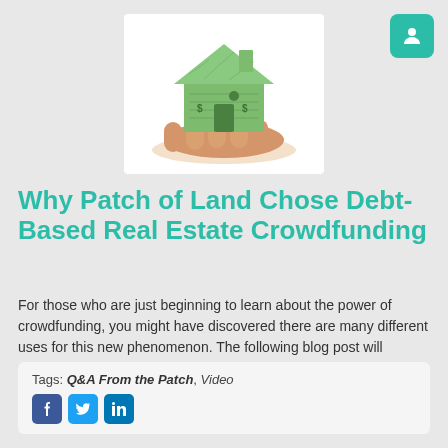[Figure (photo): Hand holding a house made of dollar bills / money, illustrating real estate crowdfunding concept]
Why Patch of Land Chose Debt-Based Real Estate Crowdfunding
For those who are just beginning to learn about the power of crowdfunding, you might have discovered there are many different uses for this new phenomenon. The following blog post will serve... [Read More]
Tags: Q&A From the Patch, Video